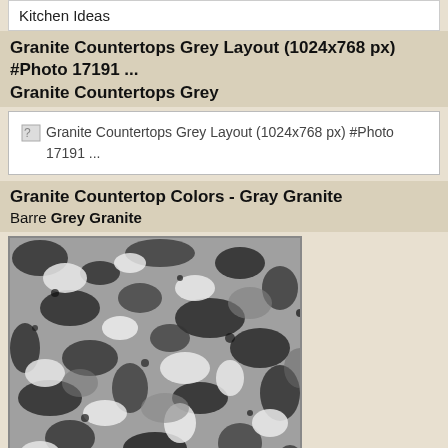Kitchen Ideas
Granite Countertops Grey Layout (1024x768 px) #Photo 17191 ...
Granite Countertops Grey
[Figure (other): Broken image placeholder for Granite Countertops Grey Layout (1024x768 px) #Photo 17191 ...]
Granite Countertop Colors - Gray Granite
Barre Grey Granite
[Figure (photo): Close-up photograph of grey/black granite stone surface showing speckled mineral texture]